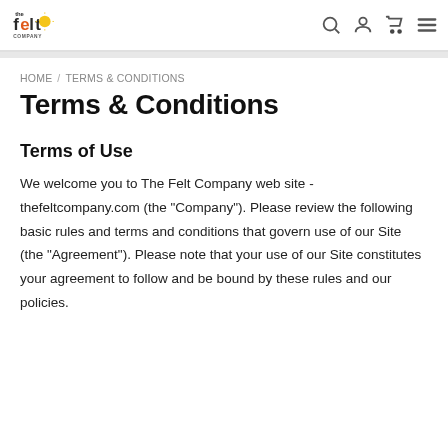The Felt Company
HOME / TERMS & CONDITIONS
Terms & Conditions
Terms of Use
We welcome you to The Felt Company web site - thefeltcompany.com (the "Company"). Please review the following basic rules and terms and conditions that govern use of our Site (the "Agreement"). Please note that your use of our Site constitutes your agreement to follow and be bound by these rules and our policies.